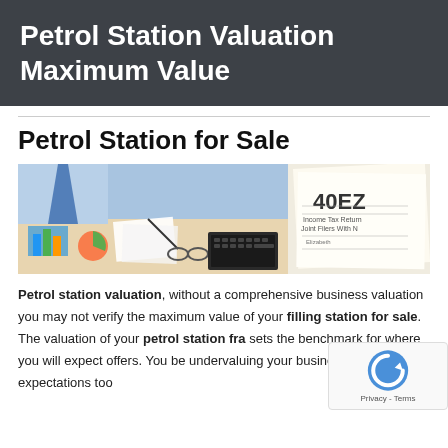Petrol Station Valuation Maximum Value
Petrol Station for Sale
[Figure (photo): Two business professionals reviewing financial charts and documents alongside a laptop keyboard and a tax return form (1040EZ Income Tax Return Joint Filers).]
Petrol station valuation, without a comprehensive business valuation you may not verify the maximum value of your filling station for sale. The valuation of your petrol station fra sets the benchmark for where you will expect offers. You be undervaluing your business, placing your expectations too